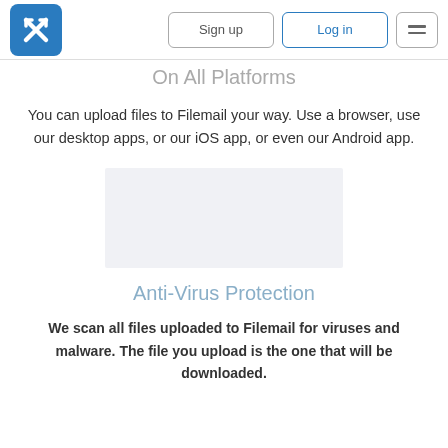Filemail website header with logo, Sign up button, Log in button, and menu button
On All Platforms
You can upload files to Filemail your way. Use a browser, use our desktop apps, or our iOS app, or even our Android app.
[Figure (screenshot): Light gray rectangular placeholder image area]
Anti-Virus Protection
We scan all files uploaded to Filemail for viruses and malware. The file you upload is the one that will be downloaded.